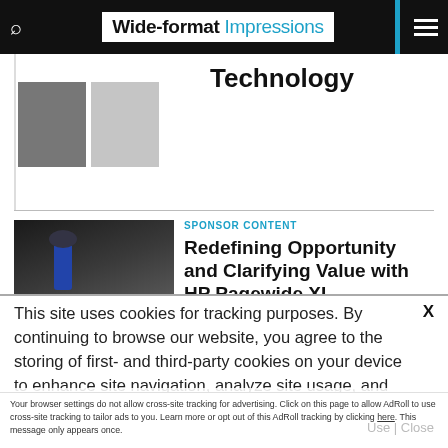Wide-format Impressions
[Figure (photo): Two thumbnail images from a previous article above, partially visible]
Technology
[Figure (photo): Photo of a person operating an HP Pagewide XL large format printer in an industrial setting]
SPONSOR CONTENT
Redefining Opportunity and Clarifying Value with HP Pagewide XL
This site uses cookies for tracking purposes. By continuing to browse our website, you agree to the storing of first- and third-party cookies on your device to enhance site navigation, analyze site usage, and assist in our marketing and
Accept and Close ✕
Your browser settings do not allow cross-site tracking for advertising. Click on this page to allow AdRoll to use cross-site tracking to tailor ads to you. Learn more or opt out of this AdRoll tracking by clicking here. This message only appears once.